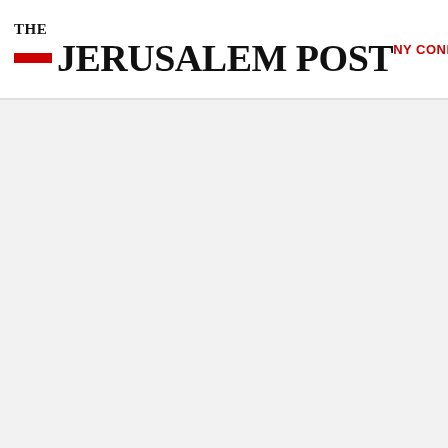THE JERUSALEM POST | NY CONFERENCE | ISRAEL
[Figure (logo): The Jerusalem Post newspaper logo with red bar accent]
NY CONFERENCE
ISRAEL